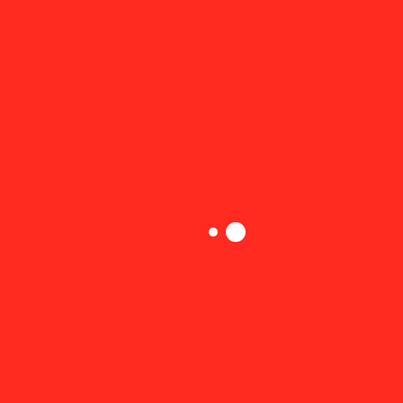[Figure (illustration): Solid red background with two small white circles near the center-left area. The left circle is smaller, and the right circle is slightly larger. Both are positioned roughly in the lower-center of the image.]